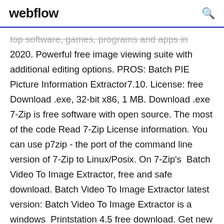webflow [search icon]
top software, games, programs and apps in 2020. Powerful free image viewing suite with additional editing options. PROS: Batch PIE Picture Information Extractor7.10. License: free Download .exe, 32-bit x86, 1 MB. Download .exe 7-Zip is free software with open source. The most of the code Read 7-Zip License information. You can use p7zip - the port of the command line version of 7-Zip to Linux/Posix. On 7-Zip's Batch Video To Image Extractor, free and safe download. Batch Video To Image Extractor latest version: Batch Video To Image Extractor is a windows Printstation 4.5 free download. Get new version of Printstation. Photo publishing management software with